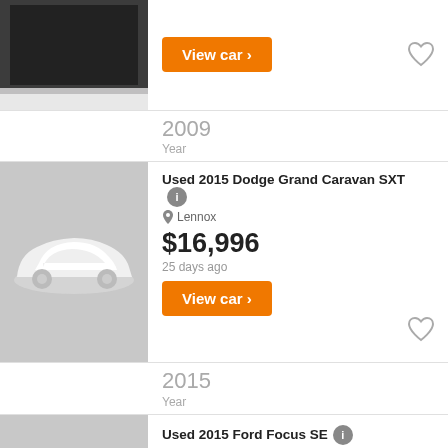[Figure (photo): Car listing image - top of page, dark SUV with open trunk, partially visible]
View car ›
2009
Year
[Figure (photo): Car listing placeholder with white car silhouette on grey background - Used 2015 Dodge Grand Caravan SXT]
Used 2015 Dodge Grand Caravan SXT
Lennox
$16,996
25 days ago
View car ›
2015
Year
[Figure (photo): Car listing placeholder with white car silhouette on grey background - Used 2015 Ford Focus SE]
Used 2015 Ford Focus SE
Lennox
$13,996
25 days ago
View car ›
2015
Year